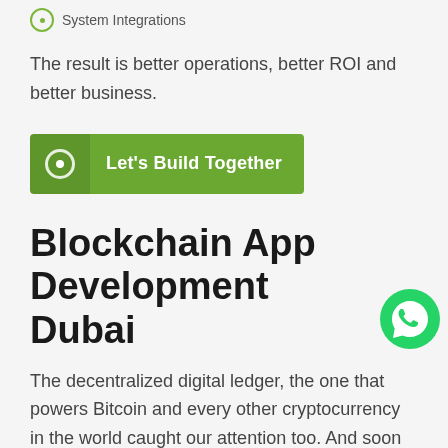System Integrations
The result is better operations, better ROI and better business.
[Figure (other): Green button with circle icon and text 'Let's Build Together']
Blockchain App Development Dubai
[Figure (logo): WhatsApp green circle icon]
The decentralized digital ledger, the one that powers Bitcoin and every other cryptocurrency in the world caught our attention too. And soon after, developers at